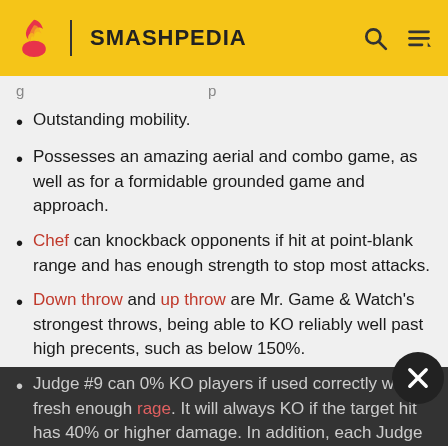SMASHPEDIA
Outstanding mobility.
Possesses an amazing aerial and combo game, as well as for a formidable grounded game and approach.
Chef can knockback opponents if hit at point-blank range and has enough strength to stop most attacks.
Down throw and up throw are Mr. Game & Watch's strongest throws, being able to KO reliably well past high precents, such as below 150%.
Judge #9 can 0% KO players if used correctly with fresh enough rage. It will always KO if the target hit has 40% or higher damage. In addition, each Judge effect has various effects, such as freezing or inflicting high shield damage (and is enough to